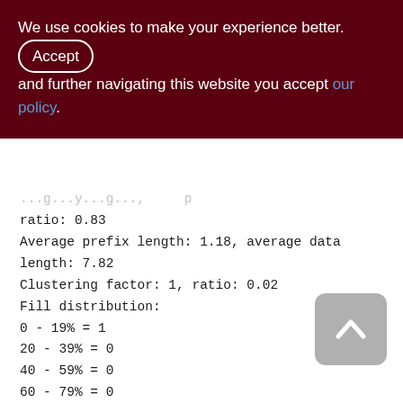We use cookies to make your experience better. By accepting and further navigating this website you accept our policy.
ratio: 0.83
Average prefix length: 1.18, average data length: 7.82
Clustering factor: 1, ratio: 0.02
Fill distribution:
0 - 19% = 1
20 - 39% = 0
40 - 59% = 0
60 - 79% = 0
80 - 99% = 0
Index AGENTS_IS_OUR_FIRM (4)